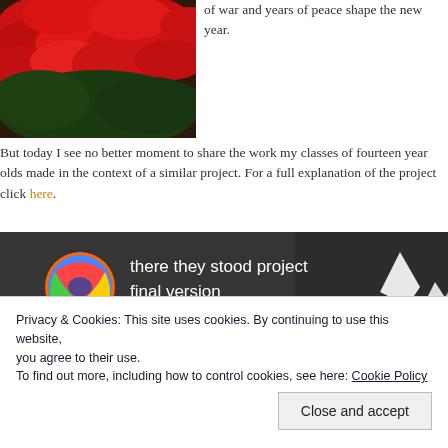[Figure (photo): Red flowers/poppies with green foliage, cropped top-left]
of war and years of peace shape the new year.
But today I see no better moment to share the work my classes of fourteen year olds made in the context of a similar project. For a full explanation of the project click here.
[Figure (screenshot): YouTube video embed showing 'there they stood project final version' with mountain snowy landscape thumbnail and YouTube play button. Channel icon is a colorful circular avatar.]
Privacy & Cookies: This site uses cookies. By continuing to use this website, you agree to their use.
To find out more, including how to control cookies, see here: Cookie Policy
Close and accept